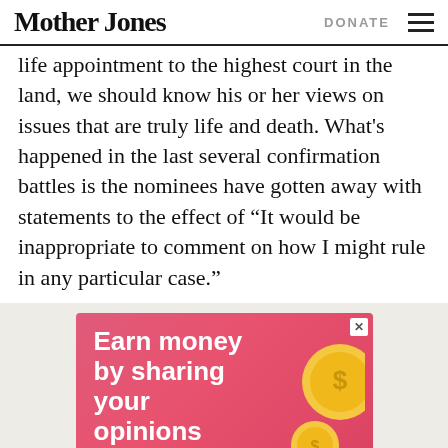Mother Jones | DONATE
life appointment to the highest court in the land, we should know his or her views on issues that are truly life and death. What's happened in the last several confirmation battles is the nominees have gotten away with statements to the effect of “It would be inappropriate to comment on how I might rule in any particular case.”
[Figure (infographic): Pink advertisement banner reading 'Earn money by sharing your opinions' with coin graphics]